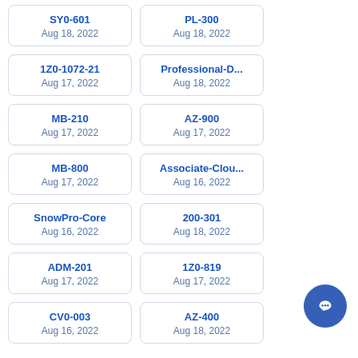SY0-601
Aug 18, 2022
PL-300
Aug 18, 2022
1Z0-1072-21
Aug 17, 2022
Professional-D...
Aug 18, 2022
MB-210
Aug 17, 2022
AZ-900
Aug 17, 2022
MB-800
Aug 17, 2022
Associate-Clou...
Aug 16, 2022
SnowPro-Core
Aug 16, 2022
200-301
Aug 18, 2022
ADM-201
Aug 17, 2022
1Z0-819
Aug 17, 2022
CV0-003
Aug 16, 2022
AZ-400
Aug 18, 2022